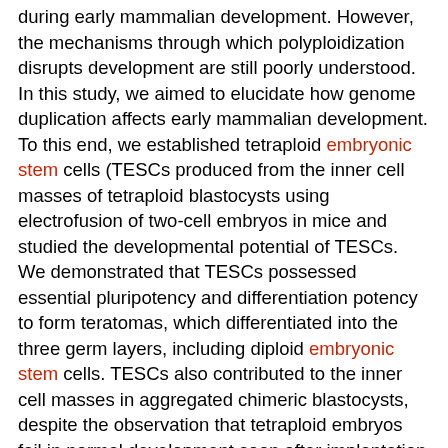during early mammalian development. However, the mechanisms through which polyploidization disrupts development are still poorly understood. In this study, we aimed to elucidate how genome duplication affects early mammalian development. To this end, we established tetraploid embryonic stem cells (TESCs produced from the inner cell masses of tetraploid blastocysts using electrofusion of two-cell embryos in mice and studied the developmental potential of TESCs. We demonstrated that TESCs possessed essential pluripotency and differentiation potency to form teratomas, which differentiated into the three germ layers, including diploid embryonic stem cells. TESCs also contributed to the inner cell masses in aggregated chimeric blastocysts, despite the observation that tetraploid embryos fail in normal development soon after implantation in mice. In TESCs, stability after several passages, colony morphology, and alkaline phosphatase activity were similar to those of diploid ESCs. TESCs also exhibited sufficient expression and localization of pluripotent markers and retained the normal epigenetic status of relevant reprogramming factors. TESCs proliferated at a slower rate than ESCs, indicating that the difference in genomic dosage was responsible for the different growth rates. Thus, our findings suggested that mouse ESCs maintained intrinsic pluripotency and differentiation